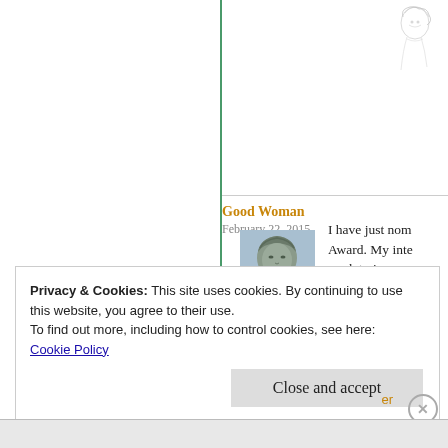[Figure (illustration): Small decorative illustration of a woman's face/figure in sketch style, top right corner]
Good Woman
February 22, 2015
[Figure (photo): Thumbnail photo of a stone sculpture of a woman's head with elaborate hair]
I have just nom Award. My inte work to increas chose to accept understand. Yo rules on my bl
Privacy & Cookies: This site uses cookies. By continuing to use this website, you agree to their use.
To find out more, including how to control cookies, see here:
Cookie Policy
Close and accept